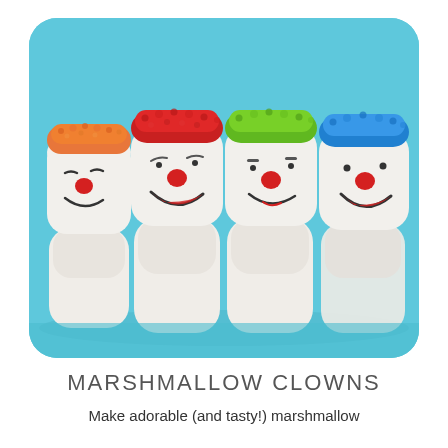[Figure (photo): Four marshmallow clowns with colorful sugary hair (orange, red, green, blue) and drawn-on smiling clown faces with red noses, each sitting on top of a plain white marshmallow body, arranged in a row against a bright blue background.]
MARSHMALLOW CLOWNS
Make adorable (and tasty!) marshmallow